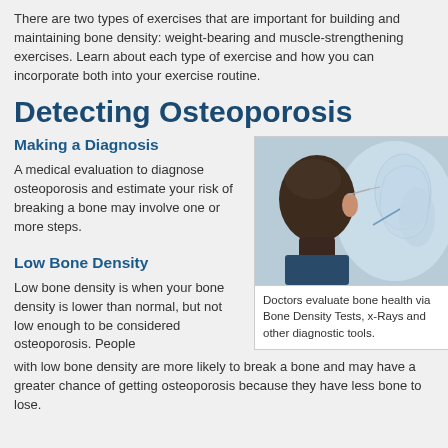There are two types of exercises that are important for building and maintaining bone density: weight-bearing and muscle-strengthening exercises. Learn about each type of exercise and how you can incorporate both into your exercise routine.
Detecting Osteoporosis
Making a Diagnosis
A medical evaluation to diagnose osteoporosis and estimate your risk of breaking a bone may involve one or more steps.
[Figure (photo): A doctor viewed from behind examining an x-ray image of bones, wearing glasses, medical context.]
Doctors evaluate bone health via Bone Density Tests, x-Rays and other diagnostic tools.
Low Bone Density
Low bone density is when your bone density is lower than normal, but not low enough to be considered osteoporosis. People with low bone density are more likely to break a bone and may have a greater chance of getting osteoporosis because they have less bone to lose.